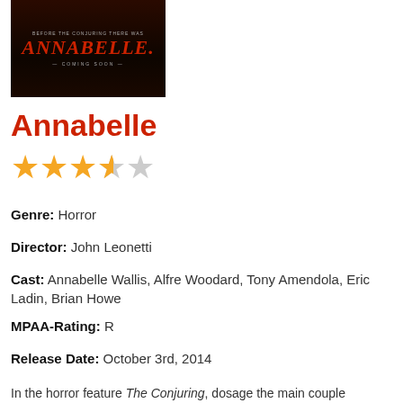[Figure (photo): Movie poster for Annabelle showing the title in red italic text on a dark background with 'The Conjuring' and 'Coming Soon' text]
Annabelle
[Figure (other): 3.5 out of 5 stars rating shown as gold stars]
Genre: Horror
Director: John Leonetti
Cast: Annabelle Wallis, Alfre Woodard, Tony Amendola, Eric Ladin, Brian Howe
MPAA-Rating: R
Release Date: October 3rd, 2014
In the horror feature The Conjuring, dosage the main couple